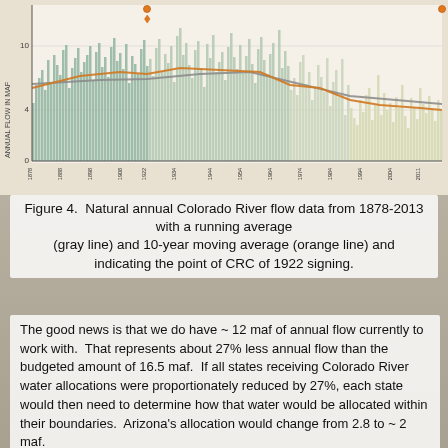[Figure (bar-chart): Bar chart showing annual Colorado River flow from 1878 to 2013, with a gray running average line and orange 10-year moving average line. Y-axis shows values 0, 4 (approximate), 10. Bars vary in height. A marker indicates the CRC 1922 signing point.]
Figure 4.  Natural annual Colorado River flow data from 1878-2013 with a running average (gray line) and 10-year moving average (orange line) and indicating the point of CRC of 1922 signing.
The good news is that we do have ~ 12 maf of annual flow currently to work with.  That represents about 27% less annual flow than the budgeted amount of 16.5 maf.  If all states receiving Colorado River water allocations were proportionately reduced by 27%, each state would then need to determine how that water would be allocated within their boundaries.  Arizona's allocation would change from 2.8 to ~ 2 maf.